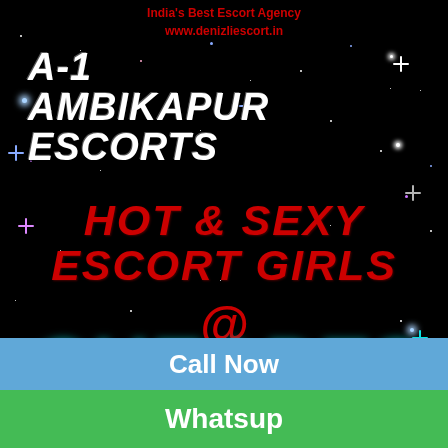India's Best Escort Agency www.denizliescort.in
A-1 AMBIKAPUR ESCORTS
HOT & SEXY ESCORT GIRLS
@
CHEAPEST PRICE
Miss Denizli #1
Call Now
Whatsup